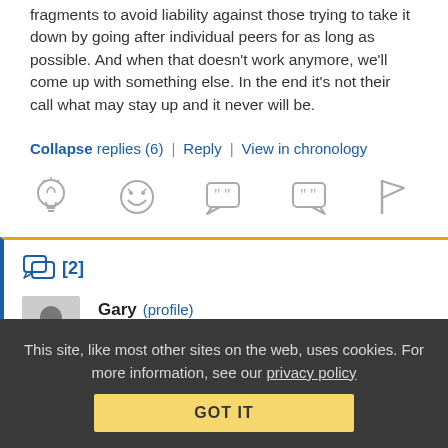fragments to avoid liability against those trying to take it down by going after individual peers for as long as possible. And when that doesn't work anymore, we'll come up with something else. In the end it's not their call what may stay up and it never will be.
Collapse replies (6) | Reply | View in chronology
[Figure (infographic): Row of 5 comment action icons: lightbulb, laughing face, open quote bubble, close quote bubble, flag]
[2]
Gary (profile) December 19, 2018 at 10:33 am
INSIDER
This site, like most other sites on the web, uses cookies. For more information, see our privacy policy GOT IT